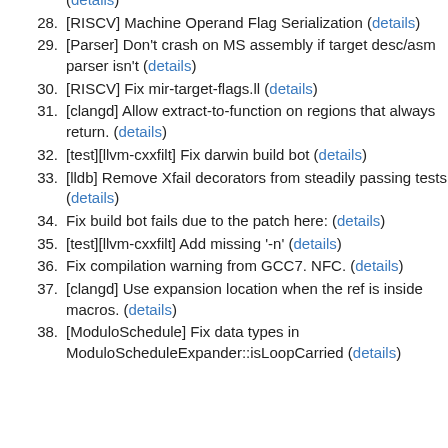(details)
28. [RISCV] Machine Operand Flag Serialization (details)
29. [Parser] Don't crash on MS assembly if target desc/asm parser isn't (details)
30. [RISCV] Fix mir-target-flags.ll (details)
31. [clangd] Allow extract-to-function on regions that always return. (details)
32. [test][llvm-cxxfilt] Fix darwin build bot (details)
33. [lldb] Remove Xfail decorators from steadily passing tests (details)
34. Fix build bot fails due to the patch here: (details)
35. [test][llvm-cxxfilt] Add missing '-n' (details)
36. Fix compilation warning from GCC7. NFC. (details)
37. [clangd] Use expansion location when the ref is inside macros. (details)
38. [ModuloSchedule] Fix data types in ModuloScheduleExpander::isLoopCarried (details)